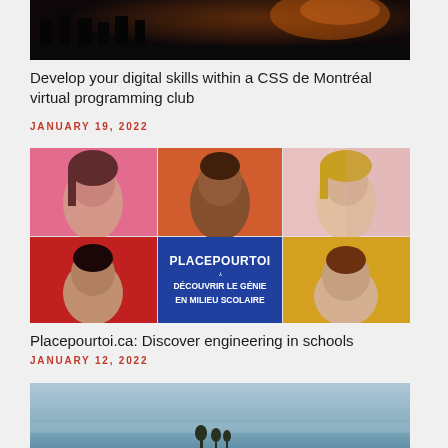[Figure (photo): Dark night scene with silhouettes of people, partial view at top of page]
Develop your digital skills within a CSS de Montréal virtual programming club
JANUARY 19, 2022
[Figure (photo): Collage of diverse smiling young people on colorful backgrounds (pink, orange, red, yellow) with a blue banner reading PLACEPOURTOI - DÉCOUVRIR LE GÉNIE EN MILIEU SCOLAIRE]
Placepourtoi.ca: Discover engineering in schools
JANUARY 12, 2022
[Figure (photo): Partially visible outdoor landscape with sky, partial view at bottom of page]